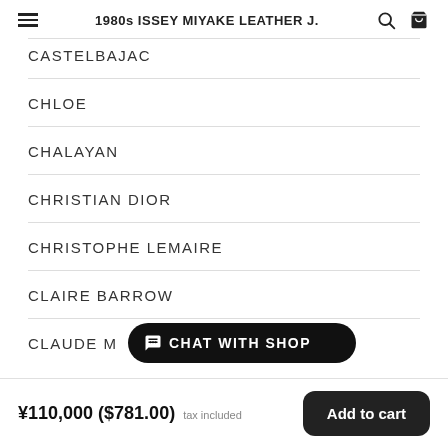1980s ISSEY MIYAKE LEATHER J.
CASTELBAJAC
CHLOE
CHALAYAN
CHRISTIAN DIOR
CHRISTOPHE LEMAIRE
CLAIRE BARROW
CLAUDE M
Chat with shop
¥110,000 ($781.00) tax included
Add to cart